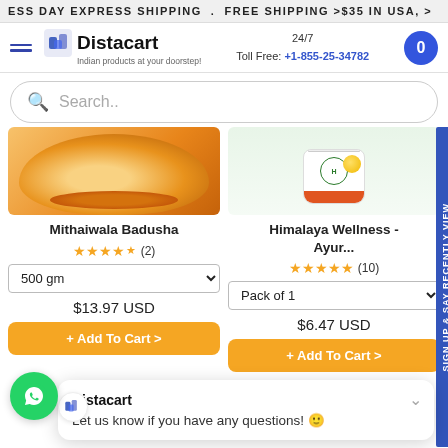ESS DAY EXPRESS SHIPPING . FREE SHIPPING >$35 IN USA, >
[Figure (screenshot): Distacart website header with logo, 24/7 toll free number +1-855-25-34782, and cart button]
Search..
[Figure (photo): Mithaiwala Badusha product image - golden Indian sweet pastry]
[Figure (photo): Himalaya Wellness - Ayur... product image - cream/wellness jar]
Mithaiwala Badusha
Himalaya Wellness - Ayur...
★★★★½ (2)
★★★★★ (10)
500 gm
Pack of 1
$13.97 USD
$6.47 USD
+ Add To Cart >
+ Add To Cart >
Sign up & say RECENTLY VIEW
Distacart
Let us know if you have any questions! 😊